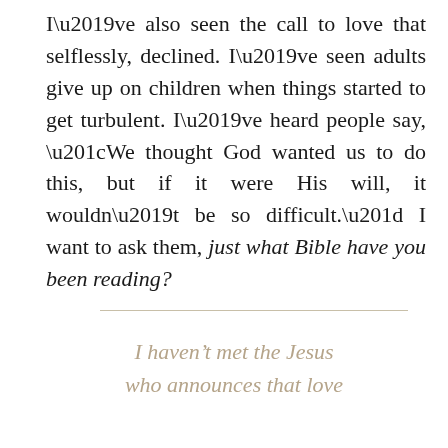I've also seen the call to love that selflessly, declined. I've seen adults give up on children when things started to get turbulent. I've heard people say, “We thought God wanted us to do this, but if it were His will, it wouldn’t be so difficult.” I want to ask them, just what Bible have you been reading?
I haven’t met the Jesus who announces that love